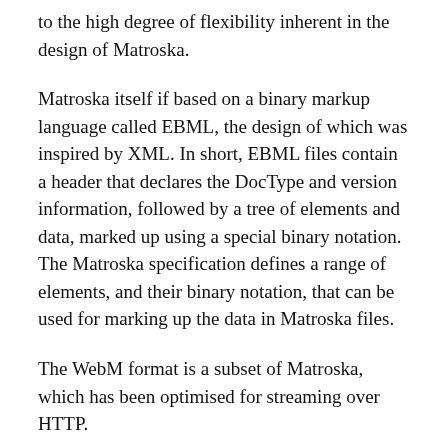to the high degree of flexibility inherent in the design of Matroska.
Matroska itself if based on a binary markup language called EBML, the design of which was inspired by XML. In short, EBML files contain a header that declares the DocType and version information, followed by a tree of elements and data, marked up using a special binary notation. The Matroska specification defines a range of elements, and their binary notation, that can be used for marking up the data in Matroska files.
The WebM format is a subset of Matroska, which has been optimised for streaming over HTTP.
WebM, which uses the DocType “webm”, can be distinguished from Matroska, which uses the DocType “matroska”. Technically speaking, a valid WebM version 1 file supports a subset of elements from Matroska version